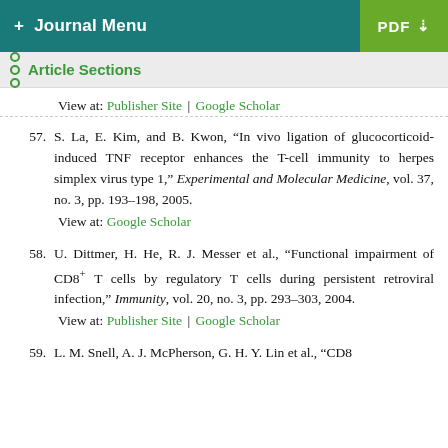+ Journal Menu | PDF
Article Sections
View at: Publisher Site | Google Scholar
57. S. La, E. Kim, and B. Kwon, “In vivo ligation of glucocorticoid-induced TNF receptor enhances the T-cell immunity to herpes simplex virus type 1,” Experimental and Molecular Medicine, vol. 37, no. 3, pp. 193–198, 2005.
View at: Google Scholar
58. U. Dittmer, H. He, R. J. Messer et al., “Functional impairment of CD8+ T cells by regulatory T cells during persistent retroviral infection,” Immunity, vol. 20, no. 3, pp. 293–303, 2004.
View at: Publisher Site | Google Scholar
59. L. M. Snell, A. J. McPherson, G. H. Y. Lin et al., “CD8